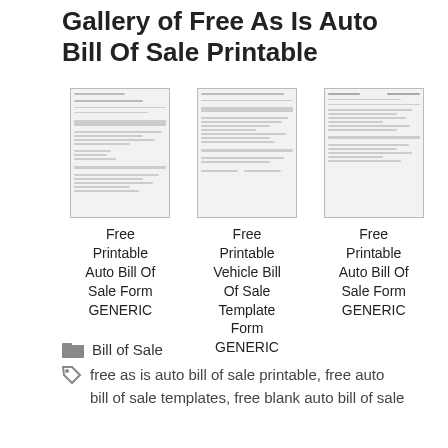Gallery of Free As Is Auto Bill Of Sale Printable
[Figure (screenshot): Thumbnail image of a free printable auto bill of sale form document]
Free Printable Auto Bill Of Sale Form GENERIC
[Figure (screenshot): Thumbnail image of a free printable vehicle bill of sale form template document]
Free Printable Vehicle Bill Of Sale Template Form GENERIC
[Figure (screenshot): Thumbnail image of a free printable auto bill of sale form generic document]
Free Printable Auto Bill Of Sale Form GENERIC
Bill of Sale
free as is auto bill of sale printable, free auto bill of sale templates, free blank auto bill of sale